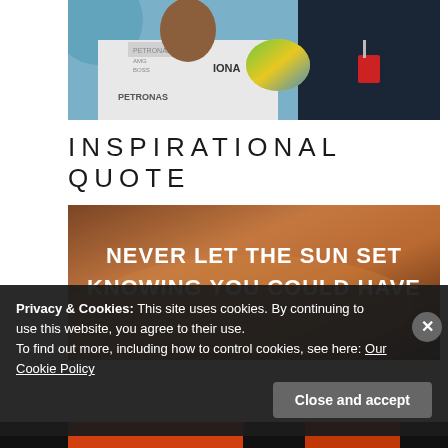[Figure (photo): Photo of a Formula 1 driver in white Mercedes racing gear smiling, holding a colorful helmet, with another person in dark clothing in the background]
INSPIRATIONAL QUOTE
[Figure (illustration): Inspirational quote image with sunset/warm brown gradient background. Text reads: NEVER LET THE SUN SET KNOWING YOU COULD HAVE]
Privacy & Cookies: This site uses cookies. By continuing to use this website, you agree to their use.
To find out more, including how to control cookies, see here: Our Cookie Policy
Close and accept